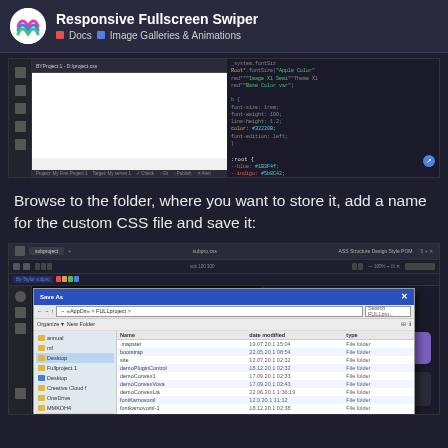Responsive Fullscreen Swiper — Docs / Image Galleries & Animations
[Figure (screenshot): Code editor screenshot showing CSS code in a dark-themed IDE]
Browse to the folder, where you want to store it, add a name for the custom CSS file and save it:
[Figure (screenshot): Screenshot of a file save dialog in a dark-themed IDE, showing a Windows Save As dialog with file name field highlighted in red and a Save button highlighted in red]